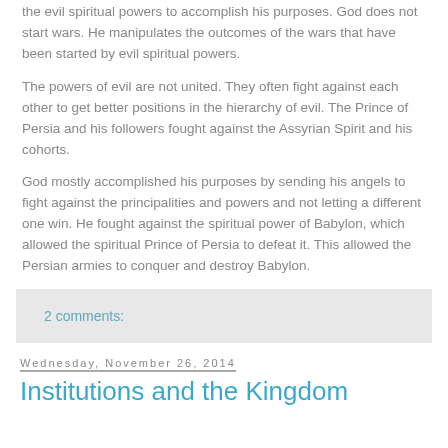the evil spiritual powers to accomplish his purposes. God does not start wars. He manipulates the outcomes of the wars that have been started by evil spiritual powers.
The powers of evil are not united. They often fight against each other to get better positions in the hierarchy of evil. The Prince of Persia and his followers fought against the Assyrian Spirit and his cohorts.
God mostly accomplished his purposes by sending his angels to fight against the principalities and powers and not letting a different one win. He fought against the spiritual power of Babylon, which allowed the spiritual Prince of Persia to defeat it. This allowed the Persian armies to conquer and destroy Babylon.
2 comments:
Wednesday, November 26, 2014
Institutions and the Kingdom